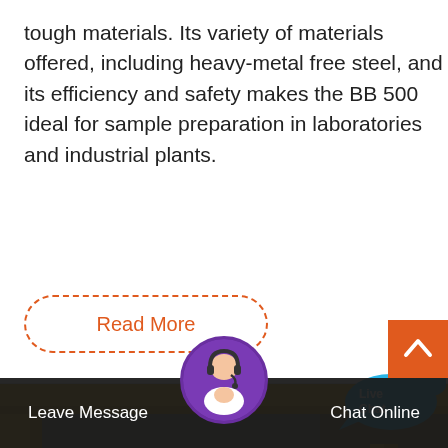tough materials. Its variety of materials offered, including heavy-metal free steel, and its efficiency and safety makes the BB 500 ideal for sample preparation in laboratories and industrial plants.
Read More
[Figure (photo): Industrial jaw crusher machine painted yellow/orange, showing large flywheel and drive mechanism, with yellow metal staircase in background]
Leave Message
Chat Online